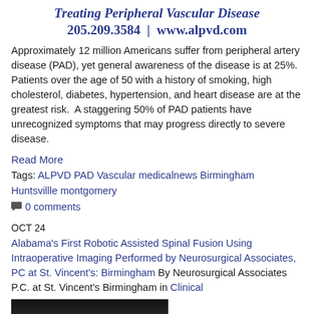Treating Peripheral Vascular Disease
205.209.3584 | www.alpvd.com
Approximately 12 million Americans suffer from peripheral artery disease (PAD), yet general awareness of the disease is at 25%. Patients over the age of 50 with a history of smoking, high cholesterol, diabetes, hypertension, and heart disease are at the greatest risk. A staggering 50% of PAD patients have unrecognized symptoms that may progress directly to severe disease.
Read More
Tags: ALPVD PAD Vascular medicalnews Birmingham Huntsvillle montgomery
0 comments
OCT 24
Alabama's First Robotic Assisted Spinal Fusion Using Intraoperative Imaging Performed by Neurosurgical Associates, PC at St. Vincent's: Birmingham By Neurosurgical Associates P.C. at St. Vincent's Birmingham in Clinical
[Figure (photo): Dark photograph, partially visible, appears to show a clinical or surgical setting with low lighting. Only the top portion of the image is visible.]